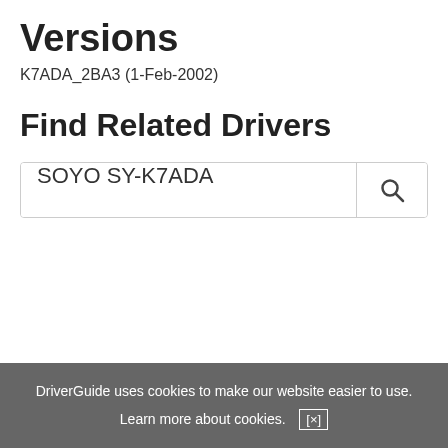Versions
K7ADA_2BA3 (1-Feb-2002)
Find Related Drivers
SOYO SY-K7ADA
DriverGuide uses cookies to make our website easier to use.
Learn more about cookies. [×]